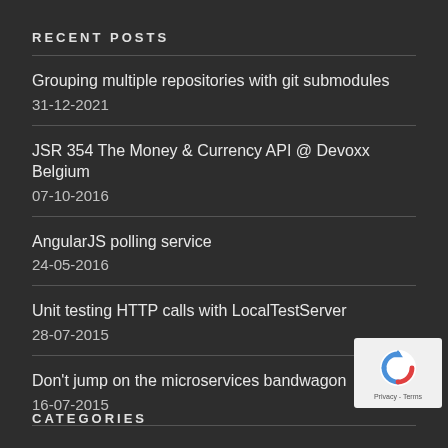RECENT POSTS
Grouping multiple repositories with git submodules
31-12-2021
JSR 354 The Money & Currency API @ Devoxx Belgium
07-10-2016
AngularJS polling service
24-05-2016
Unit testing HTTP calls with LocalTestServer
28-07-2015
Don't jump on the microservices bandwagon
16-07-2015
[Figure (logo): reCAPTCHA badge with Privacy and Terms text]
CATEGORIES